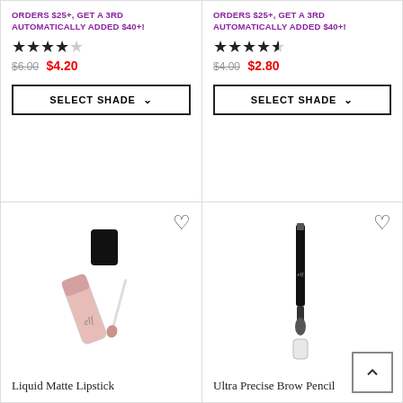ORDERS $25+, GET A 3RD AUTOMATICALLY ADDED $40+!
★★★★☆  $6.00  $4.20
SELECT SHADE
ORDERS $25+, GET A 3RD AUTOMATICALLY ADDED $40+!
★★★★½  $4.00  $2.80
SELECT SHADE
[Figure (photo): Liquid Matte Lipstick product photo: pink lip gloss tube with black cap and applicator wand]
Liquid Matte Lipstick
[Figure (photo): Ultra Precise Brow Pencil product photo: slim black pencil with cap and spoolie brush end]
Ultra Precise Brow Pencil